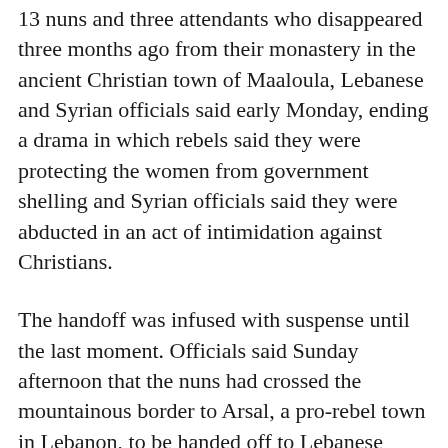13 nuns and three attendants who disappeared three months ago from their monastery in the ancient Christian town of Maaloula, Lebanese and Syrian officials said early Monday, ending a drama in which rebels said they were protecting the women from government shelling and Syrian officials said they were abducted in an act of intimidation against Christians.
The handoff was infused with suspense until the last moment. Officials said Sunday afternoon that the nuns had crossed the mountainous border to Arsal, a pro-rebel town in Lebanon, to be handed off to Lebanese officials and driven to Syria.
But amid reports of last-minute problems, reporters and government supporters waited hours at the border with no sign of the nuns. Finally, early Monday, the Lebanese channel Al Jadeed showed the black-clad nuns at the border, beaming, as one embraced a Lebanese security official and officers carried another